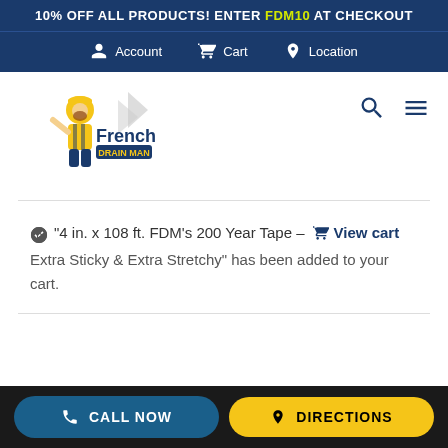10% OFF ALL PRODUCTS! ENTER FDM10 AT CHECKOUT
Account  Cart  Location
[Figure (logo): French Drain Man logo — cartoon man in yellow outfit with blue text 'French DRAIN MAN']
"4 in. x 108 ft. FDM's 200 Year Tape – Extra Sticky & Extra Stretchy" has been added to your cart.  View cart
CALL NOW   DIRECTIONS